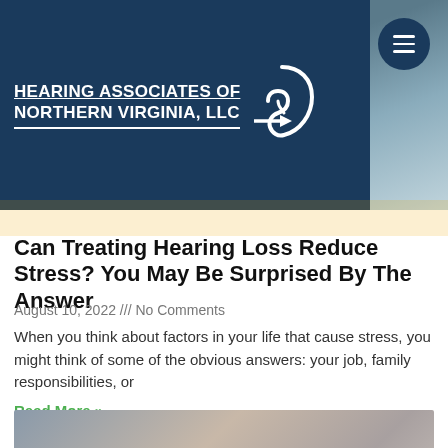[Figure (logo): Hearing Associates of Northern Virginia, LLC logo with ear icon on dark blue background with orange bar]
Can Treating Hearing Loss Reduce Stress? You May Be Surprised By The Answer
August 10, 2022 /// No Comments
When you think about factors in your life that cause stress, you might think of some of the obvious answers: your job, family responsibilities, or
Read More »
[Figure (photo): A woman with dark hair resting her head on her hand, looking distressed or tired, wearing a grey top]